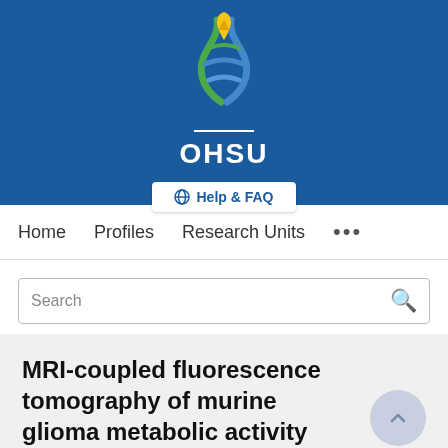[Figure (logo): OHSU (Oregon Health & Science University) logo with stylized DNA/flame design in blue, green, and yellow/gold on a blue banner background, with white OHSU text below]
Help & FAQ
Home   Profiles   Research Units   ...
Search
MRI-coupled fluorescence tomography of murine glioma metabolic activity